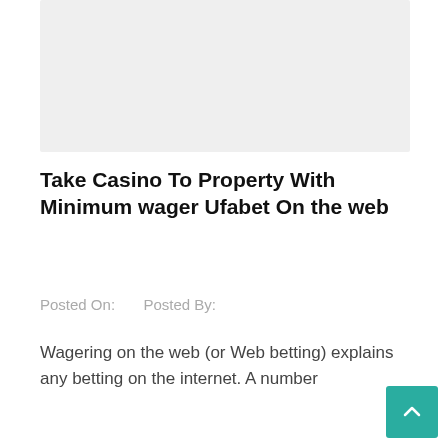[Figure (other): Gray banner image placeholder at top of page]
Take Casino To Property With Minimum wager Ufabet On the web
Posted On:    Posted By:
Wagering on the web (or Web betting) explains any betting on the internet. A number
[Figure (other): Card with SERVICE badge label and text 'prove your gameplay in Minecraft']
[Figure (other): Scroll-to-top button (teal arrow up) in bottom right corner]